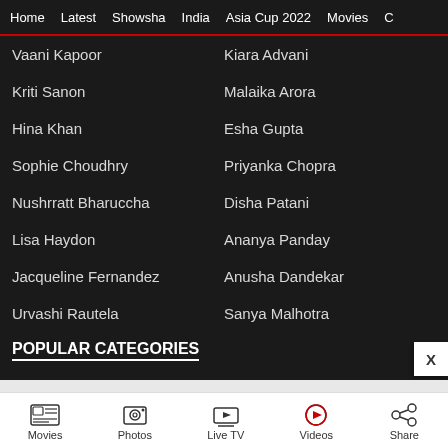Home | Latest | Showsha | India | Asia Cup 2022 | Movies | C
Vaani Kapoor
Kiara Advani
Kriti Sanon
Malaika Arora
Hina Khan
Esha Gupta
Sophie Choudhry
Priyanka Chopra
Nushrratt Bharuccha
Disha Patani
Lisa Haydon
Ananya Panday
Jacqueline Fernandez
Anusha Dandekar
Urvashi Rautela
Sanya Malhotra
POPULAR CATEGORIES
Movies | Photos | Live TV | Videos | Share